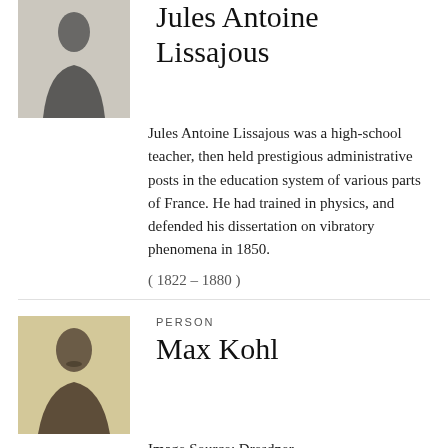[Figure (photo): Black and white portrait photograph of Jules Antoine Lissajous, upper body visible, formal attire]
Jules Antoine Lissajous
Jules Antoine Lissajous was a high-school teacher, then held prestigious administrative posts in the education system of various parts of France. He had trained in physics, and defended his dissertation on vibratory phenomena in 1850.
( 1822 – 1880 )
PERSON
[Figure (photo): Sepia portrait photograph of Max Kohl, a man with a mustache in formal attire]
Max Kohl
Image Source: Dresdner, Albert: Industrielle Vertreter der Industrie und des Handels